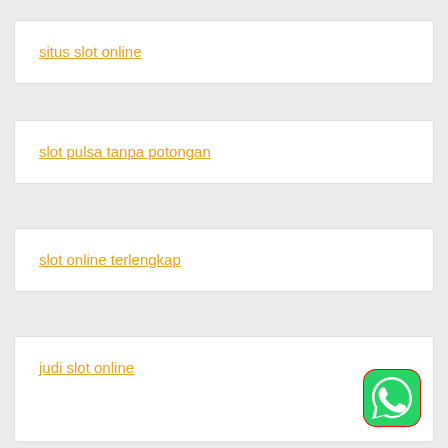situs slot online
slot pulsa tanpa potongan
slot online terlengkap
judi slot online